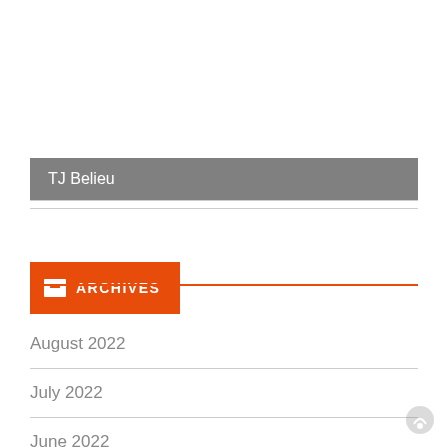TJ Belieu
ARCHIVES
August 2022
July 2022
June 2022